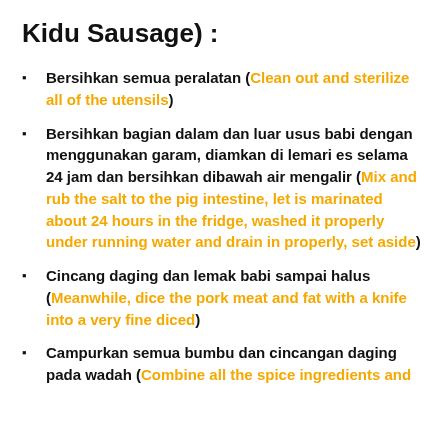Kidu Sausage) :
Bersihkan semua peralatan (Clean out and sterilize all of the utensils)
Bersihkan bagian dalam dan luar usus babi dengan menggunakan garam, diamkan di lemari es selama 24 jam dan bersihkan dibawah air mengalir (Mix and rub the salt to the pig intestine, let is marinated about 24 hours in the fridge, washed it properly under running water and drain in properly, set aside)
Cincang daging dan lemak babi sampai halus (Meanwhile, dice the pork meat and fat with a knife into a very fine diced)
Campurkan semua bumbu dan cincangan daging pada wadah (Combine all the spice ingredients and